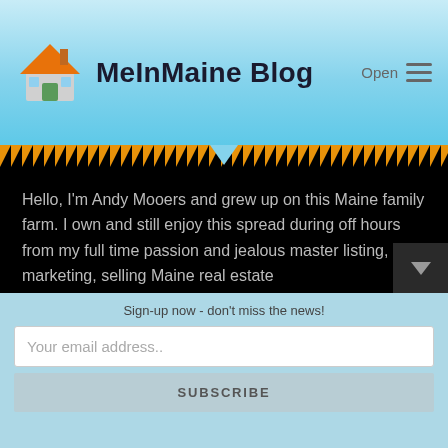MeInMaine Blog
Hello, I'm Andy Mooers and grew up on this Maine family farm. I own and still enjoy this spread during off hours from my full time passion and jealous master listing, marketing, selling Maine real estate
Contact
Me In Maine Blog
Andrew E. Mooers, Mooers Realty
Sign-up now - don't miss the news!
Your email address..
SUBSCRIBE